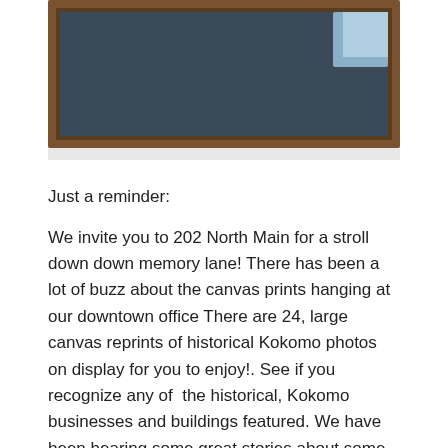[Figure (photo): Partially cropped photo showing a framed canvas or chalkboard with a dark surface mounted on a wall, with a wooden frame and a light-colored wall/window visible in the upper right.]
Just a reminder:
We invite you to 202 North Main for a stroll down down memory lane! There has been a lot of buzz about the canvas prints hanging at our downtown office There are 24, large canvas reprints of historical Kokomo photos on display for you to enjoy!. See if you recognize any of the historical, Kokomo businesses and buildings featured. We have been hearing some great stories about some of the canvas prints and would love to hear yours!